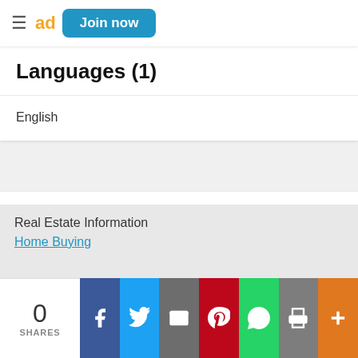Join now
Languages (1)
English
Resources (1)
AGENTS OF POSSIBILITY
Real Estate Information
Home Buying
0 SHARES